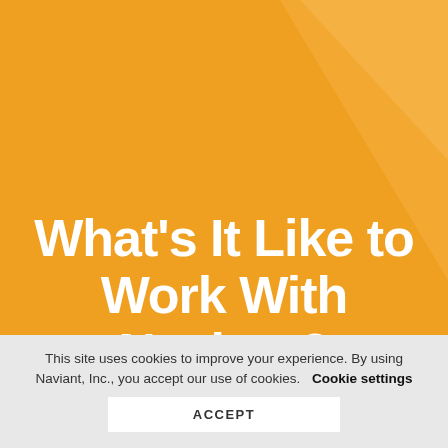[Figure (illustration): Orange gradient background with lighter diagonal shape in upper right corner]
What's It Like to Work With Naviant?
This site uses cookies to improve your experience. By using Naviant, Inc., you accept our use of cookies.   Cookie settings
ACCEPT